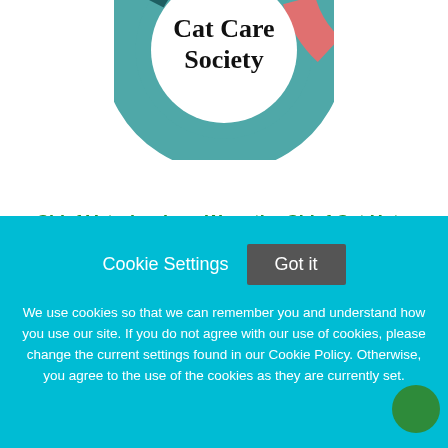[Figure (logo): Cat Care Society circular logo — teal ring with dark teal, salmon/red accent, white center with 'Cat Care Society' text in serif font]
Chief Veterinarian - Wear the Chief Cat Hat at the Cat Care Society! Full/Part Options
Cat Care Society
Lakewood, Colorado
Cookie Settings
Got it
We use cookies so that we can remember you and understand how you use our site. If you do not agree with our use of cookies, please change the current settings found in our Cookie Policy. Otherwise, you agree to the use of the cookies as they are currently set.